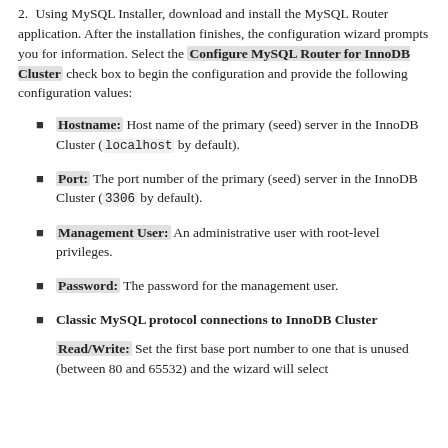2. Using MySQL Installer, download and install the MySQL Router application. After the installation finishes, the configuration wizard prompts you for information. Select the Configure MySQL Router for InnoDB Cluster check box to begin the configuration and provide the following configuration values:
Hostname: Host name of the primary (seed) server in the InnoDB Cluster (localhost by default).
Port: The port number of the primary (seed) server in the InnoDB Cluster (3306 by default).
Management User: An administrative user with root-level privileges.
Password: The password for the management user.
Classic MySQL protocol connections to InnoDB Cluster
Read/Write: Set the first base port number to one that is unused (between 80 and 65532) and the wizard will select